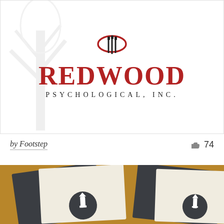[Figure (logo): Redwood Psychological Inc. logo with red text REDWOOD and subtitle PSYCHOLOGICAL, INC., with a decorative tree silhouette in background and ornamental header icon]
by Footstep
74
[Figure (photo): Business cards for a mental health and wellbeing training organization (Pharini Training, Mental Health & Wellbeing) displayed on a gold/amber background. Cards feature dark charcoal and cream colors with a lighthouse logo in a dark circle.]